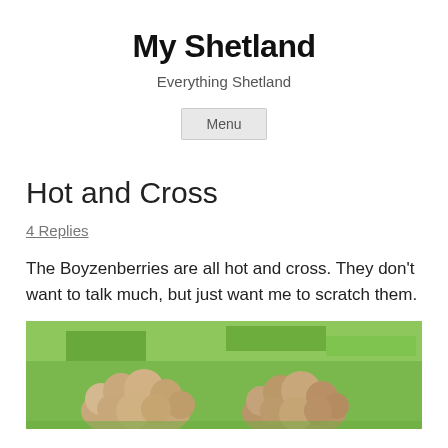My Shetland
Everything Shetland
Menu
Hot and Cross
4 Replies
The Boyzenberries are all hot and cross. They don't want to talk much, but just want me to scratch them.
[Figure (photo): Two fluffy small animals (likely Shetland ponies or similar) sitting on green grass, viewed from above/behind showing their fluffy brown/beige coats.]